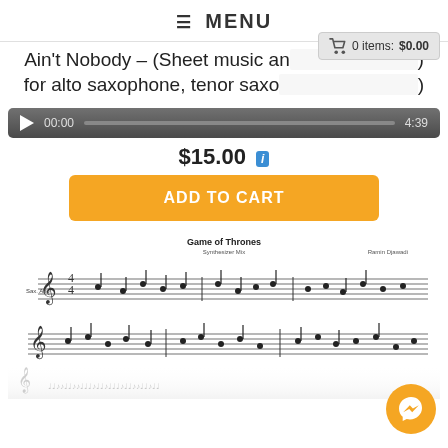≡ MENU
0 items: $0.00
Ain't Nobody – (Sheet music and backing track) for alto saxophone, tenor saxophone and violin)
[Figure (screenshot): Audio player bar showing 00:00 and 4:39]
$15.00 i
ADD TO CART
[Figure (photo): Sheet music preview showing Game of Thrones arrangement, partially blurred]